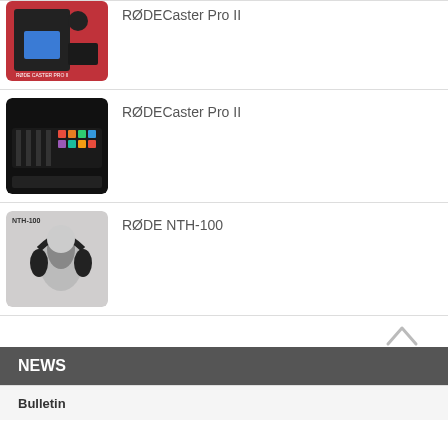[Figure (photo): RØDECaster Pro II product image - person gaming at desk with mixer]
RØDECaster Pro II
[Figure (photo): RØDECaster Pro II product image - close up of mixer with colorful pads]
RØDECaster Pro II
[Figure (photo): RØDE NTH-100 headphone product image - woman wearing headphones]
RØDE NTH-100
NEWS
Bulletin